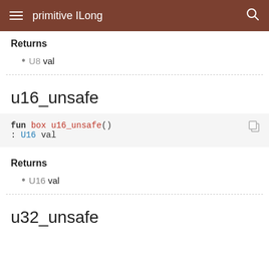primitive ILong
Returns
U8 val
u16_unsafe
fun box u16_unsafe() : U16 val
Returns
U16 val
u32_unsafe